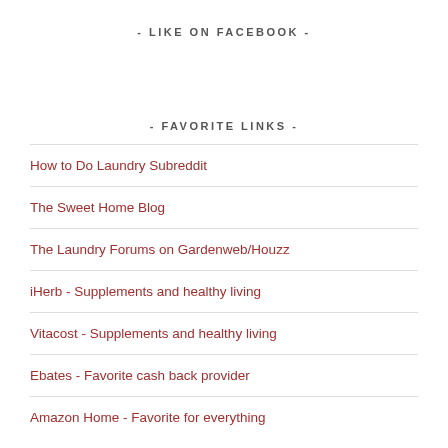- LIKE ON FACEBOOK -
- FAVORITE LINKS -
How to Do Laundry Subreddit
The Sweet Home Blog
The Laundry Forums on Gardenweb/Houzz
iHerb - Supplements and healthy living
Vitacost - Supplements and healthy living
Ebates - Favorite cash back provider
Amazon Home - Favorite for everything